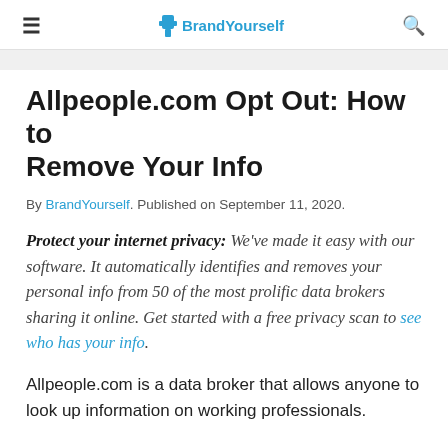≡  BrandYourself  🔍
Allpeople.com Opt Out: How to Remove Your Info
By BrandYourself. Published on September 11, 2020.
Protect your internet privacy: We've made it easy with our software. It automatically identifies and removes your personal info from 50 of the most prolific data brokers sharing it online. Get started with a free privacy scan to see who has your info.
Allpeople.com is a data broker that allows anyone to look up information on working professionals.